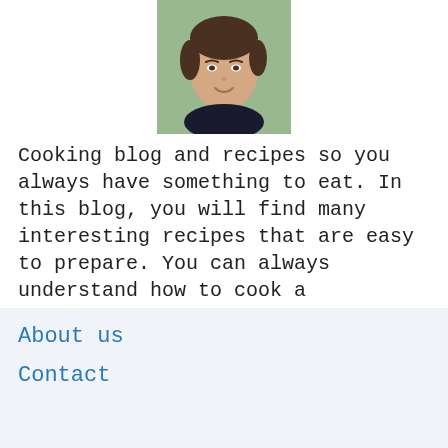[Figure (photo): Headshot of a young woman with dark hair, smiling, wearing a dark top, outdoors with blurred green background]
Cooking blog and recipes so you always have something to eat. In this blog, you will find many interesting recipes that are easy to prepare. You can always understand how to cook a particular dish, what products are needed for this, how long it takes to cook. And most importantly, here you can find new, interesting and delicious recipes.
About us
Contact